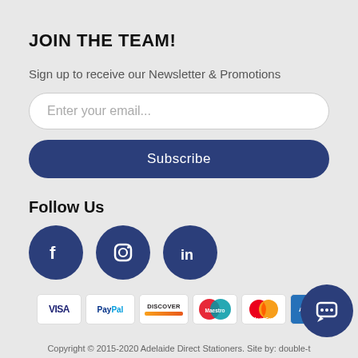JOIN THE TEAM!
Sign up to receive our Newsletter & Promotions
Enter your email...
Subscribe
Follow Us
[Figure (illustration): Three social media icons: Facebook, Instagram, LinkedIn — dark blue circles with white icons]
[Figure (illustration): Payment method logos: VISA, PayPal, Discover, Maestro, MasterCard, American Express]
Copyright © 2015-2020 Adelaide Direct Stationers. Site by: double-t